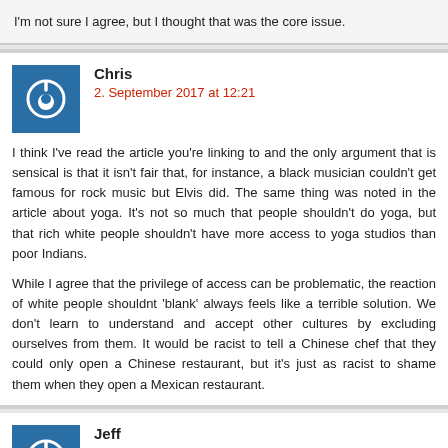I'm not sure I agree, but I thought that was the core issue.
Chris
2. September 2017 at 12:21
I think I've read the article you're linking to and the only argument that is sensical is that it isn't fair that, for instance, a black musician couldn't get famous for rock music but Elvis did. The same thing was noted in the article about yoga. It's not so much that people shouldn't do yoga, but that rich white people shouldn't have more access to yoga studios than poor Indians.

While I agree that the privilege of access can be problematic, the reaction of white people shouldnt 'blank' always feels like a terrible solution. We don't learn to understand and accept other cultures by excluding ourselves from them. It would be racist to tell a Chinese chef that they could only open a Chinese restaurant, but it's just as racist to shame them when they open a Mexican restaurant.
Jeff
2. September 2017 at 13:50
@Chris – Chuck Berry, Jimi Hendrix, Bo Diddly and Little Richard ar...